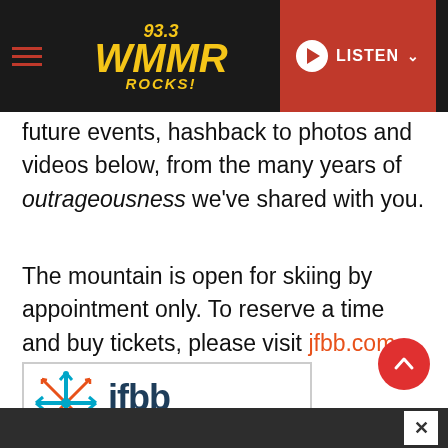93.3 WMMR ROCKS! — LISTEN
future events, hashback to photos and videos below, from the many years of outrageousness we've shared with you.
The mountain is open for skiing by appointment only. To reserve a time and buy tickets, please visit jfbb.com.
[Figure (logo): JFBB Jack Frost Big Boulder logo with snowflake icon]
× close button